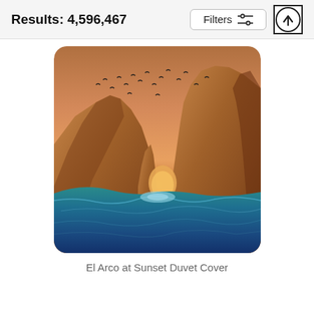Results: 4,596,467
Filters
[Figure (photo): Product photo of a duvet cover printed with El Arco (The Arch) at Cabo San Lucas at sunset. Rocky formations rise from blue-green ocean water, with a natural arch rock formation in the center. Birds fly in the orange-golden sky above. The duvet cover has rounded corners.]
El Arco at Sunset Duvet Cover